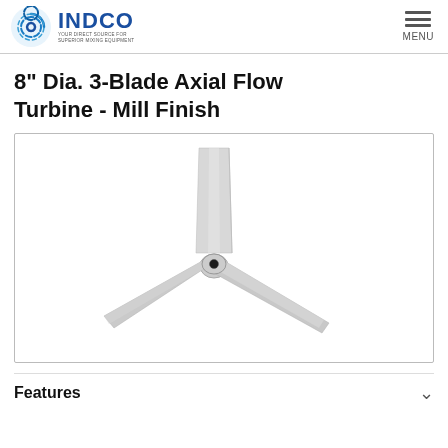INDCO — YOUR DIRECT SOURCE FOR SUPERIOR MIXING EQUIPMENT | MENU
8" Dia. 3-Blade Axial Flow Turbine - Mill Finish
[Figure (photo): 8 inch diameter 3-blade axial flow turbine impeller with mill finish aluminum blades, shown on white background. The three angled blades extend from a central hub.]
Features